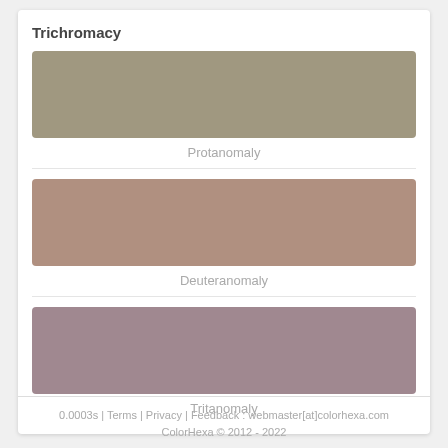Trichromacy
[Figure (other): Color swatch showing Protanomaly simulation — a muted olive-tan/khaki color block]
Protanomaly
[Figure (other): Color swatch showing Deuteranomaly simulation — a muted warm brown/rosy-tan color block]
Deuteranomaly
[Figure (other): Color swatch showing Tritanomaly simulation — a muted mauve/dusty rose color block]
Tritanomaly
0.0003s | Terms | Privacy | Feedback : webmaster[at]colorhexa.com
ColorHexa © 2012 - 2022